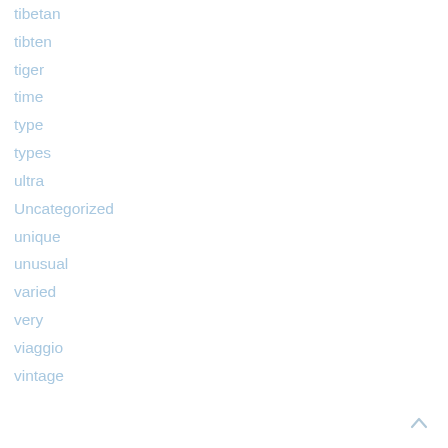tibetan
tibten
tiger
time
type
types
ultra
Uncategorized
unique
unusual
varied
very
viaggio
vintage